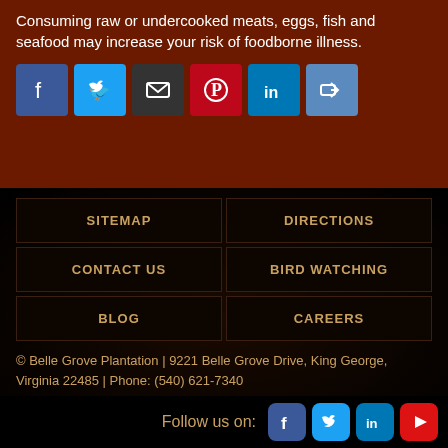Consuming raw or undercooked meats, eggs, fish and seafood may increase your risk of foodborne illness.
[Figure (infographic): Row of social media sharing icons: Facebook (blue), Twitter (light blue), Email (dark/envelope), Pinterest (red), LinkedIn (blue), Share (blue arrow)]
SITEMAP
DIRECTIONS
CONTACT US
BIRD WATCHING
BLOG
CAREERS
© Belle Grove Plantation | 9221 Belle Grove Drive, King George, Virginia 22485 | Phone: (540) 621-7340
Website creation & maintenance by Bull & Company MediaWorks
Follow us on:
[Figure (infographic): Follow us on: Facebook, Twitter, LinkedIn, YouTube icons]